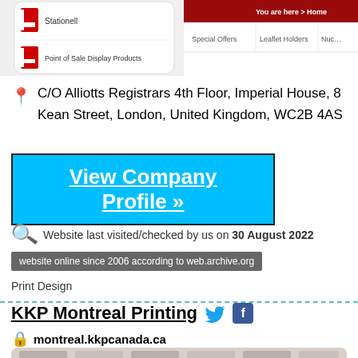[Figure (screenshot): Website screenshot showing navigation with 'Stationell', 'Point of Sale Display Products', red logo icon, 'You are here > Home', 'Special Offers', 'Leaflet Holders', 'Nuc...' menu items]
C/O Alliotts Registrars 4th Floor, Imperial House, 8 Kean Street, London, United Kingdom, WC2B 4AS
View Company Profile »
Website last visited/checked by us on 30 August 2022
website online since 2006 according to web.archive.org
Print Design
KKP Montreal Printing
montreal.kkpcanada.ca
[Figure (screenshot): Bottom portion of KKP Montreal website screenshot showing shelving/display area]